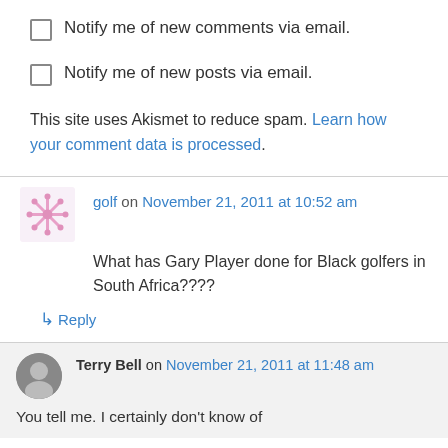Notify me of new comments via email.
Notify me of new posts via email.
This site uses Akismet to reduce spam. Learn how your comment data is processed.
golf on November 21, 2011 at 10:52 am
What has Gary Player done for Black golfers in South Africa????
↳ Reply
Terry Bell on November 21, 2011 at 11:48 am
You tell me. I certainly don't know of